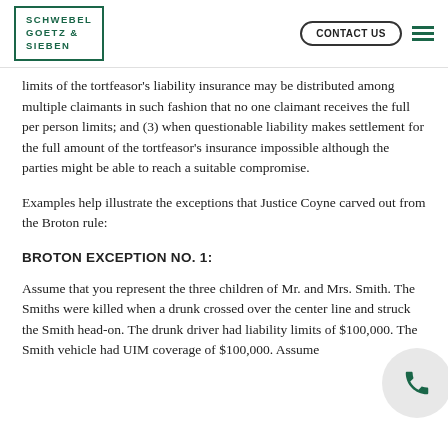SCHWEBEL GOETZ & SIEBEN | CONTACT US
limits of the tortfeasor's liability insurance may be distributed among multiple claimants in such fashion that no one claimant receives the full per person limits; and (3) when questionable liability makes settlement for the full amount of the tortfeasor's insurance impossible although the parties might be able to reach a suitable compromise.
Examples help illustrate the exceptions that Justice Coyne carved out from the Broton rule:
BROTON EXCEPTION NO. 1:
Assume that you represent the three children of Mr. and Mrs. Smith. The Smiths were killed when a drunk crossed over the center line and struck the Smith head-on. The drunk driver had liability limits of $100,000. The Smith vehicle had UIM coverage of $100,000. Assume